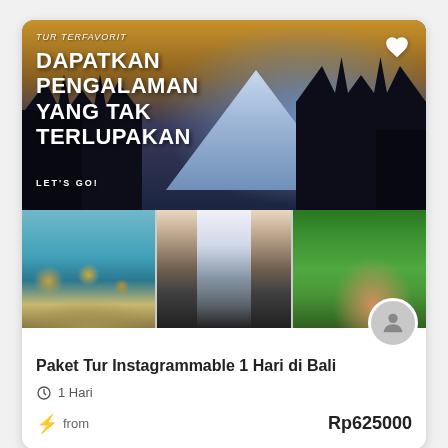[Figure (photo): Hero banner with Balinese temple gate silhouette, mountain in background at sunset, overlaid with text: TUR TERFAVORIT, DAPATKAN PENGALAMAN YANG TAK TERLUPAKAN, LET'S GO! and a heart/favorite icon]
[Figure (photo): Three thumbnail photos: left - Balinese water temple/pond with statues, center - waterfall in cave, right - woman on jungle swing]
Paket Tur Instagrammable 1 Hari di Bali
1 Hari
from
Rp625000